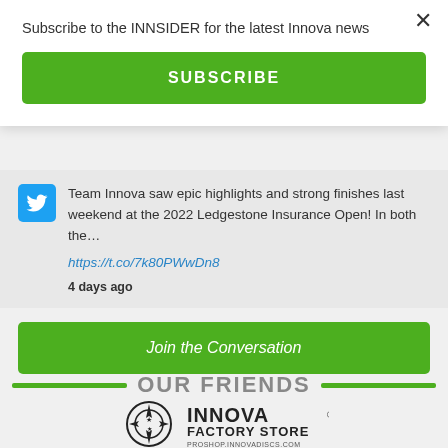Subscribe to the INNSIDER for the latest Innova news
SUBSCRIBE
Team Innova saw epic highlights and strong finishes last weekend at the 2022 Ledgestone Insurance Open! In both the…
https://t.co/7k80PWwDn8
4 days ago
Join the Conversation
OUR FRIENDS
[Figure (logo): Innova Factory Store logo with compass rose icon and text PROSHOP.INNOVADISCS.COM]